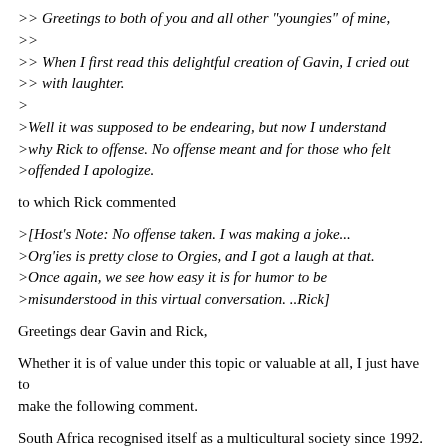>> Greetings to both of you and all other "youngies" of mine,
>>
>> When I first read this delightful creation of Gavin, I cried out
>> with laughter.
>
>Well it was supposed to be endearing, but now I understand
>why Rick to offense. No offense meant and for those who felt
>offended I apologize.
to which Rick commented
>[Host's Note: No offense taken. I was making a joke...
>Org'ies is pretty close to Orgies, and I got a laugh at that.
>Once again, we see how easy it is for humor to be
>misunderstood in this virtual conversation. ..Rick]
Greetings dear Gavin and Rick,
Whether it is of value under this topic or valuable at all, I just have to
make the following comment.
South Africa recognised itself as a multicultural society since 1992. How
much it has become the "rainbow nation" (Mandela's Vision) is a question